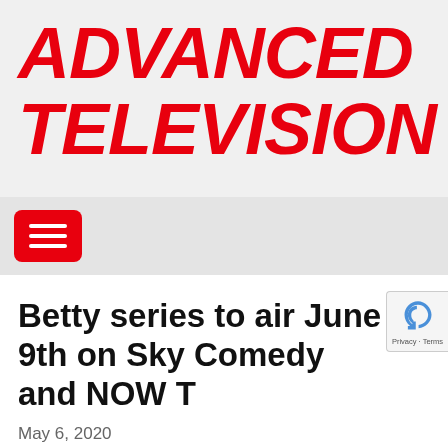ADVANCED TELEVISION
[Figure (other): Red hamburger menu button icon on a light grey navigation bar background]
Betty series to air June 9th on Sky Comedy and NOW T
May 6, 2020